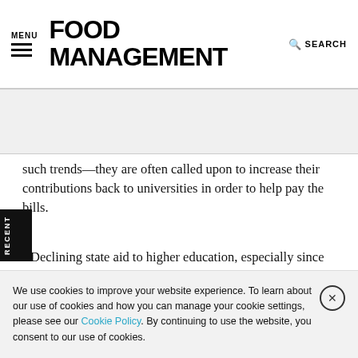MENU | FOOD MANAGEMENT | SEARCH
[Figure (other): Advertisement/banner area, partially visible text]
such trends—they are often called upon to increase their contributions back to universities in order to help pay the bills.
Declining state aid to higher education, especially since the economic downturn, is a major factor. So has been the dismal returns most schools have had on their endowments recently,
We use cookies to improve your website experience. To learn about our use of cookies and how you can manage your cookie settings, please see our Cookie Policy. By continuing to use the website, you consent to our use of cookies.